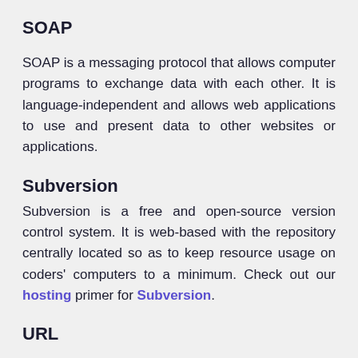SOAP
SOAP is a messaging protocol that allows computer programs to exchange data with each other. It is language-independent and allows web applications to use and present data to other websites or applications.
Subversion
Subversion is a free and open-source version control system. It is web-based with the repository centrally located so as to keep resource usage on coders' computers to a minimum. Check out our hosting primer for Subversion.
URL